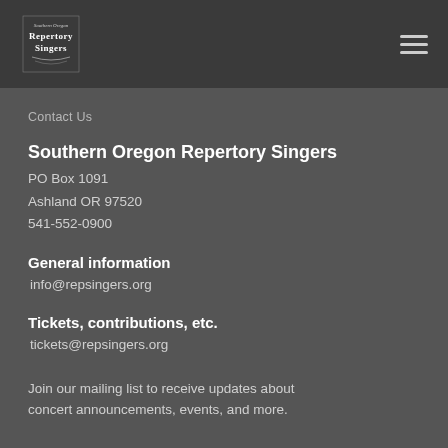Southern Oregon Repertory Singers — logo and navigation
Contact Us
Southern Oregon Repertory Singers
PO Box 1091
Ashland OR 97520
541-552-0900
General information
info@repsingers.org
Tickets, contributions, etc.
tickets@repsingers.org
Join our mailing list to receive updates about concert announcements, events, and more.